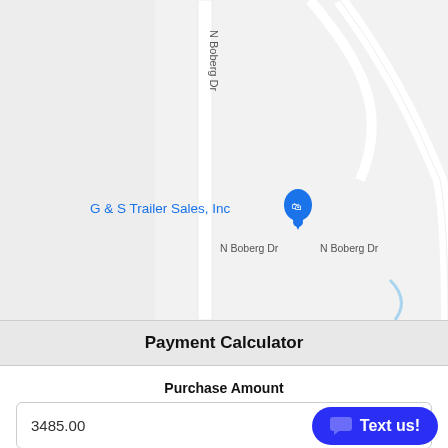[Figure (map): Google Maps screenshot showing N Boberg Dr and State Rd 159 intersection area with G & S Trailer Sales, Inc location marker]
Payment Calculator
Purchase Amount
3485.00
Down Payment